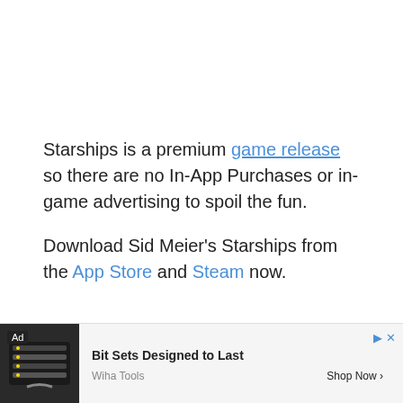Starships is a premium game release so there are no In-App Purchases or in-game advertising to spoil the fun.
Download Sid Meier's Starships from the App Store and Steam now.
[Figure (other): Social sharing icons: Facebook, Twitter, LinkedIn, Reddit, Email]
[Figure (other): Advertisement banner: Ad label, product image of tools/keyboard, 'Bit Sets Designed to Last', Wiha Tools, Shop Now button, play/close controls]